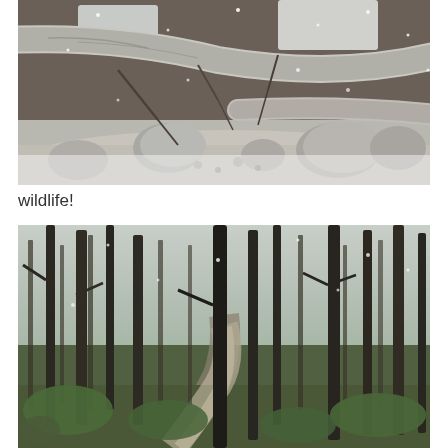[Figure (photo): A winter forest scene showing fallen snow-dusted logs and trees over a rocky creek bed with rounded boulders and scattered gravel, lightly dusted with snow.]
wildlife!
[Figure (photo): A forest trail through tall conifer trees, with green undergrowth and a rocky path winding through the woods, taken in spring or summer conditions.]